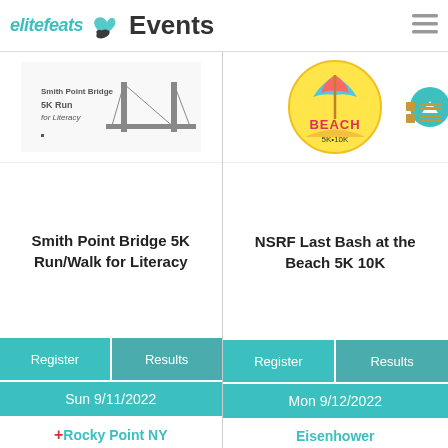elitefeats Events
[Figure (logo): EliteFeats logo with wing and shoe icon, teal text]
[Figure (photo): Smith Point Bridge 5K Run for Literacy event logo]
Smith Point Bridge 5K Run/Walk for Literacy
Register | Results
[Figure (photo): NSRF Last Bash at the Beach 5K 10K colorful event logo]
NSRF Last Bash at the Beach 5K 10K
Register | Results
Sun 9/11/2022
Mon 9/12/2022
+ Rocky Point NY
Eisenhower Park NY